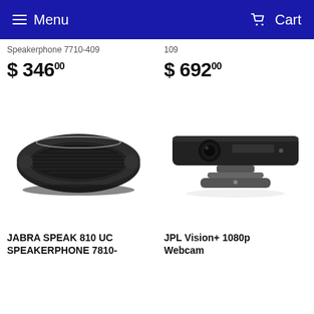Menu  Cart
Speakerphone 7710-409
109
$ 346.00
$ 692.00
[Figure (photo): Jabra Speak 810 UC Speakerphone device, oval dark grey unit seen from above]
[Figure (photo): JPL Vision+ 1080p Webcam, dark bar-shaped camera on a stand mount]
JABRA SPEAK 810 UC SPEAKERPHONE 7810-
JPL Vision+ 1080p Webcam